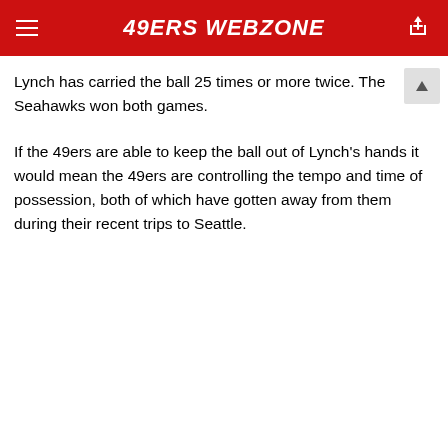49ERS WEBZONE
Lynch has carried the ball 25 times or more twice. The Seahawks won both games.
If the 49ers are able to keep the ball out of Lynch's hands it would mean the 49ers are controlling the tempo and time of possession, both of which have gotten away from them during their recent trips to Seattle.